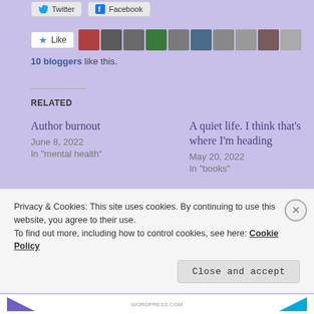[Figure (screenshot): Social sharing buttons: Twitter and Facebook]
[Figure (screenshot): Like button with star icon and row of 10 blogger avatar thumbnails]
10 bloggers like this.
RELATED
Author burnout
June 8, 2022
In "mental health"
A quiet life. I think that's where I'm heading
May 20, 2022
In "books"
No shame; no stigma. An event for you.
June 29, 2016
Privacy & Cookies: This site uses cookies. By continuing to use this website, you agree to their use.
To find out more, including how to control cookies, see here: Cookie Policy
Close and accept